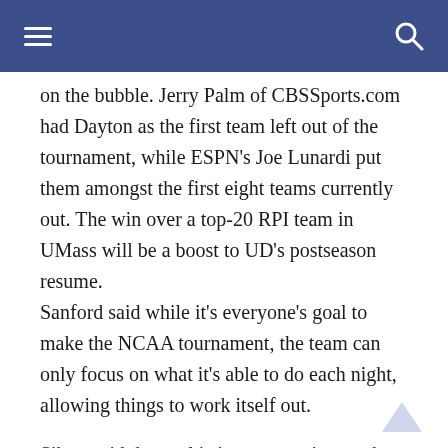≡  [search icon]
on the bubble. Jerry Palm of CBSSports.com had Dayton as the first team left out of the tournament, while ESPN's Joe Lunardi put them amongst the first eight teams currently out. The win over a top-20 RPI team in UMass will be a boost to UD's postseason resume.
Sanford said while it's everyone's goal to make the NCAA tournament, the team can only focus on what it's able to do each night, allowing things to work itself out.
Sibert said the goal is just to remain together, harboring back to the team's initial theme this season.